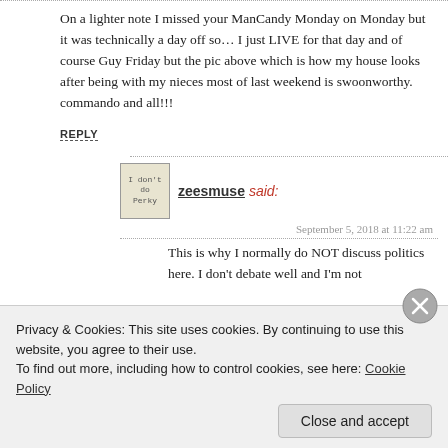On a lighter note I missed your ManCandy Monday on Monday but it was technically a day off so… I just LIVE for that day and of course Guy Friday but the pic above which is how my house looks after being with my nieces most of last weekend is swoonworthy. commando and all!!!
REPLY
[Figure (illustration): Small avatar image with text 'I don't do Perky' inside a bordered box]
zeesmuse said:
September 5, 2018 at 11:22 am
This is why I normally do NOT discuss politics here. I don't debate well and I'm not
Privacy & Cookies: This site uses cookies. By continuing to use this website, you agree to their use.
To find out more, including how to control cookies, see here: Cookie Policy
Close and accept